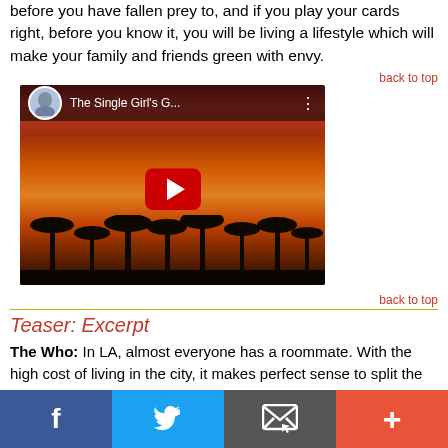before you have fallen prey to, and if you play your cards right, before you know it, you will be living a lifestyle which will make your family and friends green with envy.
back to top
[Figure (screenshot): YouTube video thumbnail for 'The Single Girl's G...' showing a sunset over palm trees in LA with a red play button overlay]
back to top
Teaser: Excerpt
The Who: In LA, almost everyone has a roommate. With the high cost of living in the city, it makes perfect sense to split the cost with someone else so you can afford to do something other than simply pay rent every month.
[Figure (infographic): Social share bar with Facebook, Twitter, email, and plus buttons]